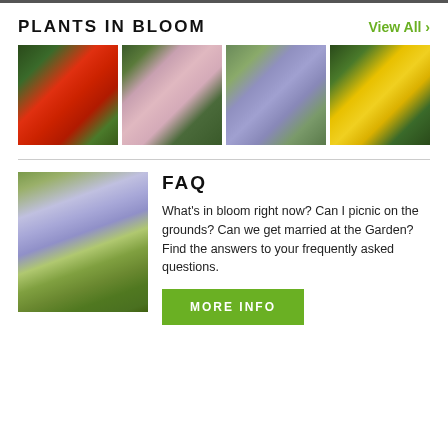PLANTS IN BLOOM
View All ›
[Figure (photo): Four flower photos in a grid: red flower with bee, pink clustered flowers, lavender flowers, yellow daisy]
[Figure (photo): Wisteria tree with purple hanging flowers over a garden bench]
FAQ
What's in bloom right now? Can I picnic on the grounds? Can we get married at the Garden? Find the answers to your frequently asked questions.
MORE INFO